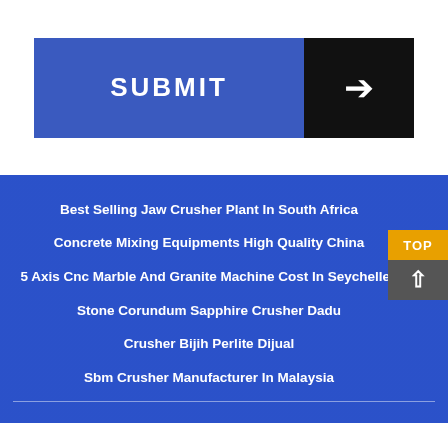[Figure (other): Submit button with blue left panel labeled SUBMIT and dark right panel with right arrow icon]
[Figure (photo): Blue-tinted industrial crusher plant machinery background image with list of links overlaid]
Best Selling Jaw Crusher Plant In South Africa
Concrete Mixing Equipments High Quality China
5 Axis Cnc Marble And Granite Machine Cost In Seychelles
Stone Corundum Sapphire Crusher Dadu
Crusher Bijih Perlite Dijual
Sbm Crusher Manufacturer In Malaysia